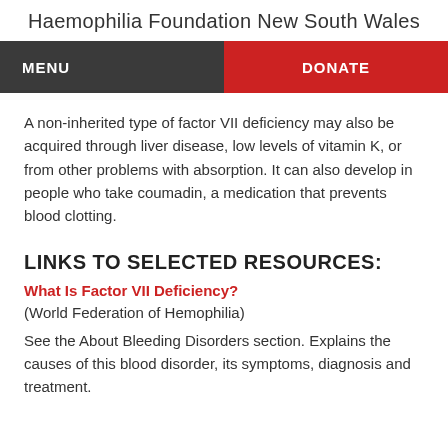Haemophilia Foundation New South Wales
MENU
DONATE
A non-inherited type of factor VII deficiency may also be acquired through liver disease, low levels of vitamin K, or from other problems with absorption. It can also develop in people who take coumadin, a medication that prevents blood clotting.
LINKS TO SELECTED RESOURCES:
What Is Factor VII Deficiency?
(World Federation of Hemophilia)
See the About Bleeding Disorders section. Explains the causes of this blood disorder, its symptoms, diagnosis and treatment.